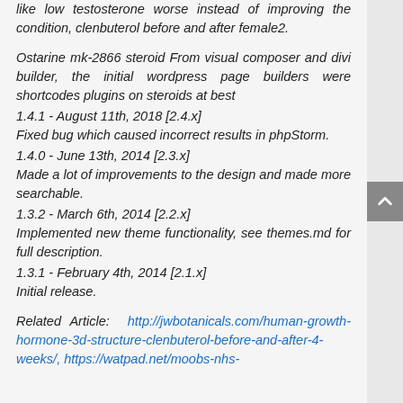like low testosterone worse instead of improving the condition, clenbuterol before and after female2.
Ostarine mk-2866 steroid From visual composer and divi builder, the initial wordpress page builders were shortcodes plugins on steroids at best1.4.1 - August 11th, 2018 [2.4.x] Fixed bug which caused incorrect results in phpStorm. 1.4.0 - June 13th, 2014 [2.3.x] Made a lot of improvements to the design and made more searchable. 1.3.2 - March 6th, 2014 [2.2.x] Implemented new theme functionality, see themes.md for full description. 1.3.1 - February 4th, 2014 [2.1.x] Initial release.
Related Article: http://jwbotanicals.com/human-growth-hormone-3d-structure-clenbuterol-before-and-after-4-weeks/, https://watpad.net/moobs-nhs-...